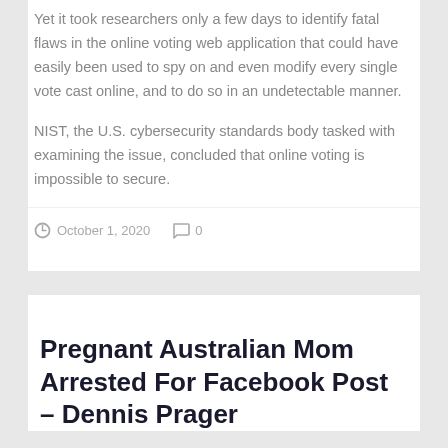Yet it took researchers only a few days to identify fatal flaws in the online voting web application that could have easily been used to spy on and even modify every single vote cast online, and to do so in an undetectable manner.

NIST, the U.S. cybersecurity standards body tasked with examining the issue, concluded that online voting is impossible to secure.
October 1, 2020   0
Pregnant Australian Mom Arrested For Facebook Post – Dennis Prager